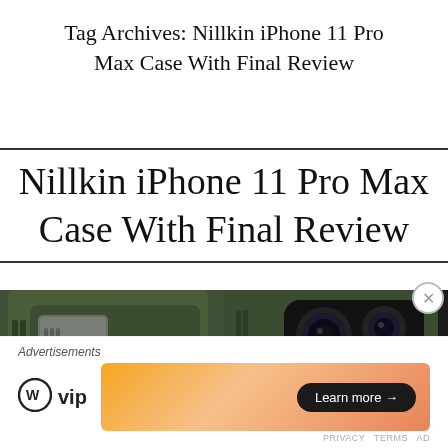Tag Archives: Nillkin iPhone 11 Pro Max Case With Final Review
Nillkin iPhone 11 Pro Max Case With Final Review
[Figure (photo): Two views of the Nillkin iPhone 11 Pro Max case in dark green/olive color. Left: back panel showing 'DISCOVER INNOVATION' text on the case body with ribbed grip elements. Right: back showing the triple-camera cutout area on the phone with dark olive green case.]
Advertisements
[Figure (infographic): WordPress VIP advertisement banner with orange gradient background and 'Learn more →' button in black pill shape.]